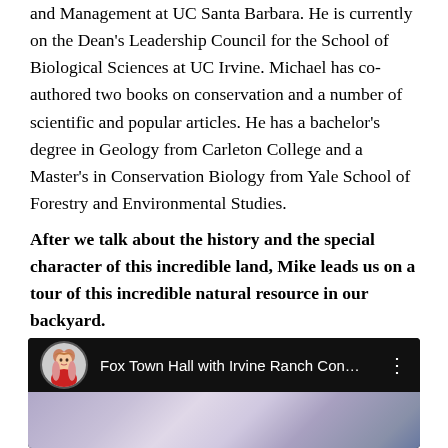and Management at UC Santa Barbara. He is currently on the Dean's Leadership Council for the School of Biological Sciences at UC Irvine. Michael has co-authored two books on conservation and a number of scientific and popular articles. He has a bachelor's degree in Geology from Carleton College and a Master's in Conservation Biology from Yale School of Forestry and Environmental Studies.
After we talk about the history and the special character of this incredible land, Mike leads us on a tour of this incredible natural resource in our backyard.
Watch our Town Hall on the Irvine Ranch Conservancy here:
[Figure (screenshot): YouTube video thumbnail showing 'Fox Town Hall with Irvine Ranch Con...' with a blonde woman avatar and a sky background image]